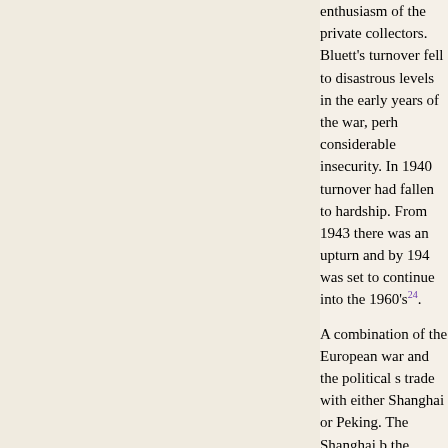enthusiasm of the private collectors. Bluett's turnover fell to disastrous levels in the early years of the war, perhaps considerable insecurity. In 1940 turnover had fallen to hardship. From 1943 there was an upturn and by 194 was set to continue into the 1960's[24].
A combination of the European war and the political s trade with either Shanghai or Peking. The Shanghai b the Japanese took control, and set up business in the late 1940s a new pattern of trading had emerged and the nature of pieces they were able to buy. No signific survived, so a less vivid picture emerges than of the p to achieve academic prestige in England in later years business in Fujian province, but Cheng had left for Ho archaeology, and he would have had contacts among Kong from excavations in Southern China. Cheng ser onwards, mainly pre-Ming ceramics, jades and bronze In general the Imperial magnificences ceased to arrive war were being re-cycled from pre-war collections. In collection of Chinese jades for which Roger Bluett wro Cheng and Bluetts:
"The Bluett connection with the Cheng family goes ba I fear, I do not recall, but a cordial and even warm rela When Professor Cheng Te-k'un came to England to ta Archaeology at Cambridge University, my late father a the large house in Chesterton Road, known to so man happy occasions and where I enjoyed many a deliciou wife, Wen-tsung. The house remained his home until at Shatin"[25].